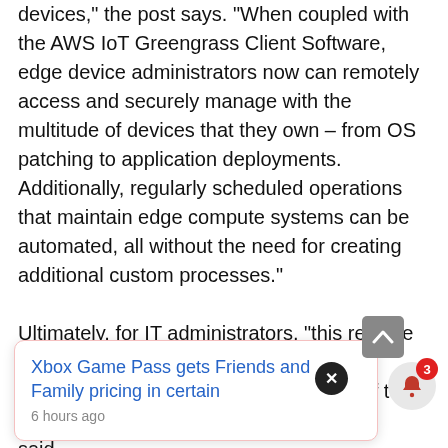devices," the post says. "When coupled with the AWS IoT Greengrass Client Software, edge device administrators now can remotely access and securely manage with the multitude of devices that they own – from OS patching to application deployments. Additionally, regularly scheduled operations that maintain edge compute systems can be automated, all without the need for creating additional custom processes."

Ultimately, for IT administrators, "this release gives a complete overview of all of their devices through a set of tools in Systems Manager," AWS said.
Xbox Game Pass gets Friends and Family pricing in certain
6 hours ago